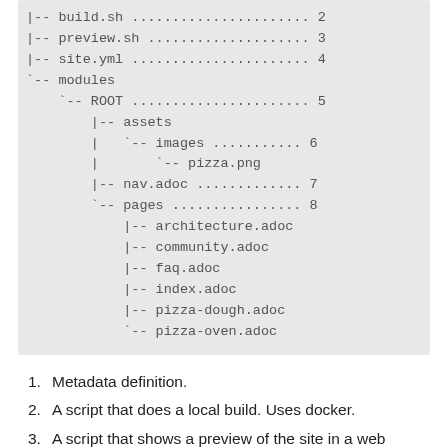[Figure (other): Directory tree listing showing build.sh, preview.sh, site.yml, modules/ROOT with assets/images/pizza.png, nav.adoc, and pages directory with architecture.adoc, community.adoc, faq.adoc, index.adoc, pizza-dough.adoc, pizza-oven.adoc, with numbered annotations 2-8]
1. Metadata definition.
2. A script that does a local build. Uses docker.
3. A script that shows a preview of the site in a web browser by running a local web server. Uses docker.